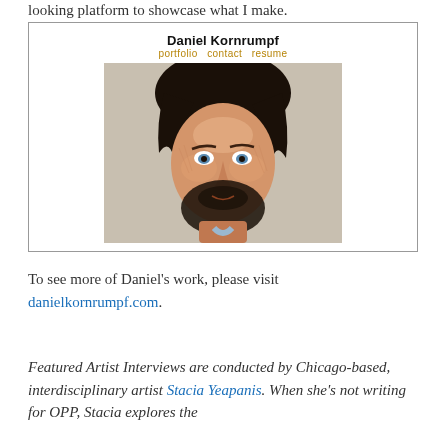looking platform to showcase what I make.
[Figure (screenshot): Screenshot of Daniel Kornrumpf's portfolio website showing his name at the top, navigation links (portfolio, contact, resume), and a detailed portrait illustration of a bearded man with blue eyes rendered in a textured cross-hatch style.]
To see more of Daniel's work, please visit danielkornrumpf.com.
Featured Artist Interviews are conducted by Chicago-based, interdisciplinary artist Stacia Yeapanis. When she's not writing for OPP, Stacia explores the